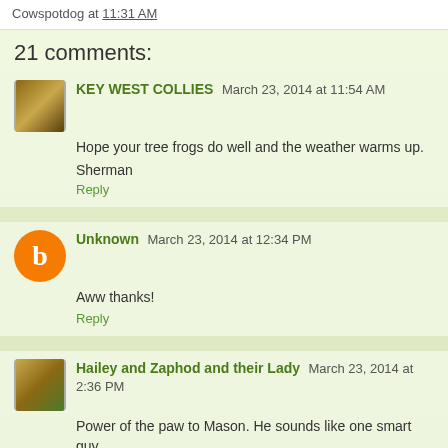Cowspotdog at 11:31 AM
21 comments:
KEY WEST COLLIES March 23, 2014 at 11:54 AM
Hope your tree frogs do well and the weather warms up.
Sherman
Reply
Unknown March 23, 2014 at 12:34 PM
Aww thanks!
Reply
Hailey and Zaphod and their Lady March 23, 2014 at 2:36 PM
Power of the paw to Mason. He sounds like one smart guy.